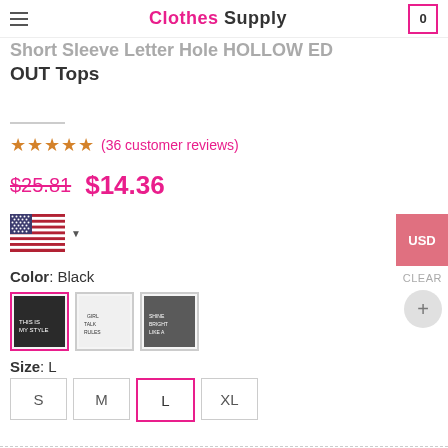Clothes Supply — Cart: 0
Short Sleeve Letter Hole HOLLOW ED OUT Tops
(36 customer reviews)
$25.81  $14.36
[Figure (illustration): US flag with dropdown arrow]
Color: Black
[Figure (photo): Three product color thumbnail images: Black selected, White, Dark]
Size: L
Size buttons: S, M, L (selected), XL